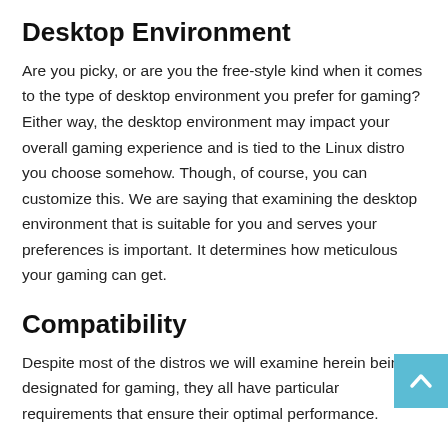Desktop Environment
Are you picky, or are you the free-style kind when it comes to the type of desktop environment you prefer for gaming? Either way, the desktop environment may impact your overall gaming experience and is tied to the Linux distro you choose somehow. Though, of course, you can customize this. We are saying that examining the desktop environment that is suitable for you and serves your preferences is important. It determines how meticulous your gaming can get.
Compatibility
Despite most of the distros we will examine herein being designated for gaming, they all have particular requirements that ensure their optimal performance.
These system requirements can make or break your gaming,